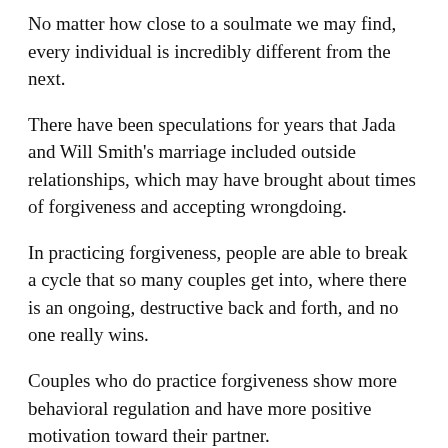No matter how close to a soulmate we may find, every individual is incredibly different from the next.
There have been speculations for years that Jada and Will Smith's marriage included outside relationships, which may have brought about times of forgiveness and accepting wrongdoing.
In practicing forgiveness, people are able to break a cycle that so many couples get into, where there is an ongoing, destructive back and forth, and no one really wins.
Couples who do practice forgiveness show more behavioral regulation and have more positive motivation toward their partner.
Meaning, they are able to move on from a situation without harboring negative feelings from the past.